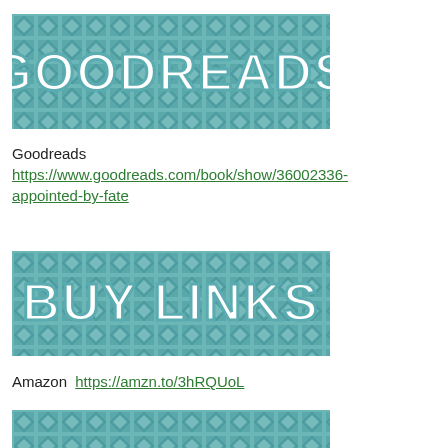[Figure (illustration): Goodreads banner image with teal diamond-pattern background and white bold text reading GOODREADS]
Goodreads
https://www.goodreads.com/book/show/36002336-appointed-by-fate
[Figure (illustration): Buy Links banner image with teal diamond-pattern background and white bold text reading BUY LINKS]
Amazon  https://amzn.to/3hRQUoL
[Figure (illustration): Partially visible third banner with teal diamond-pattern background, bottom of page, text partially cut off]